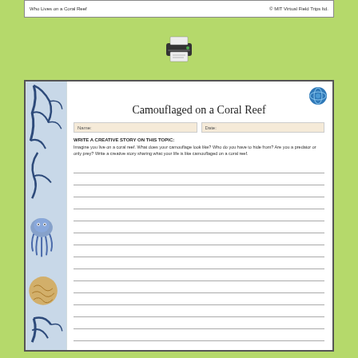Who Lives on a Coral Reef   © MIT Virtual Field Trips ltd.
[Figure (illustration): Printer icon with paper output]
Camouflaged on a Coral Reef
Name:   Date:
WRITE A CREATIVE STORY ON THIS TOPIC:
Imagine you live on a coral reef. What does your camouflage look like? Who do you have to hide from? Are you a predator or only prey? Write a creative story sharing what your life is like camouflaged on a coral reef.
[Writing lines for student response]